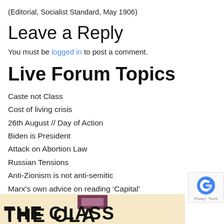(Editorial, Socialist Standard, May 1906)
Leave a Reply
You must be logged in to post a comment.
Live Forum Topics
Caste not Class
Cost of living crisis
26th August // Day of Action
Biden is President
Attack on Abortion Law
Russian Tensions
Anti-Zionism is not anti-semitic
Marx's own advice on reading ‘Capital’
Summer School 2022
[Figure (illustration): Summer School 2022 banner with block letters reading THE CLASS on a light yellow background, with a dark maroon rectangular graphic element above the text]